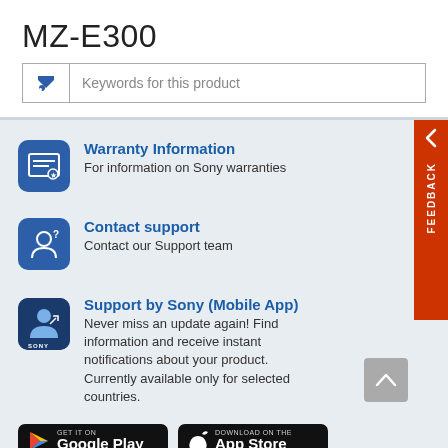MZ-E300
Keywords for this product
Warranty Information - For information on Sony warranties
Contact support - Contact our Support team
Support by Sony (Mobile App) - Never miss an update again! Find information and receive instant notifications about your product. Currently available only for selected countries.
[Figure (logo): Google Play store badge]
[Figure (logo): Apple App Store badge]